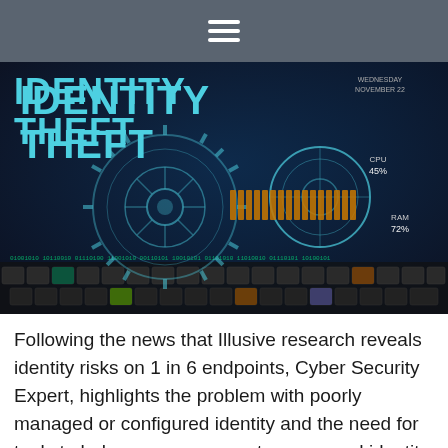≡
[Figure (photo): Identity theft cybersecurity themed image showing glowing teal gear/cog graphics and holographic HUD elements overlaid on a dark keyboard background, with large bold teal text reading 'IDENTITY THEFT' in upper left, and CPU 45% / RAM 72% stats on the right side.]
Following the news that Illusive research reveals identity risks on 1 in 6 endpoints, Cyber Security Expert, highlights the problem with poorly managed or configured identity and the need for tools to help manage account access and identity.